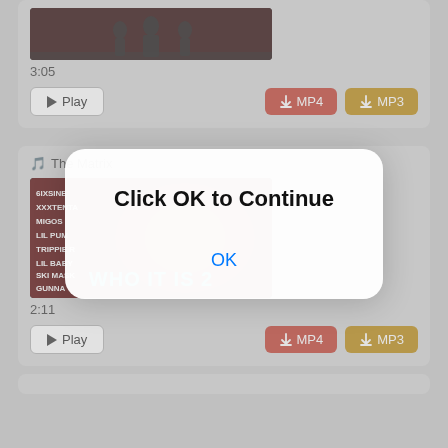[Figure (screenshot): Top card showing a video thumbnail (dark silhouette image), duration 3:05, with Play, MP4 download, and MP3 download buttons]
3:05
[Figure (screenshot): Second card showing music video thumbnail for 'The Matrix' with artist list (6IXSINE, XXXTENTACION, MIGOS, LIL PUMP, TRIPPIE RED, LIL BABY, SKI MASK, GUNNA) and 'WHO IT IS 2' text, duration 2:11, Play/MP4/MP3 buttons]
2:11
[Figure (screenshot): Modal dialog overlay with text 'Click OK to Continue' and an OK button]